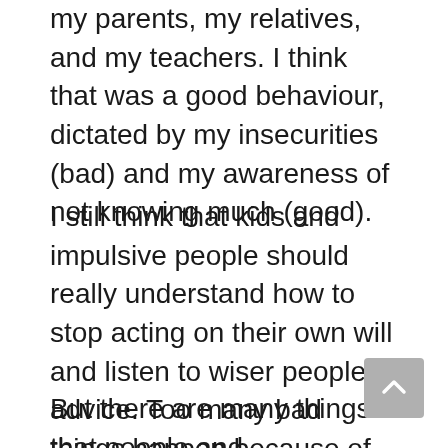my parents, my relatives, and my teachers. I think that was a good behaviour, dictated by my insecurities (bad) and my awareness of not knowing much (good).
I still think that kids and impulsive people should really understand how to stop acting on their own will and listen to wiser people’s advice. Too many bad things happen because of misjudgement or lack of reflection.
But there are many things that people and circumstances tell us: what we can do and what we can’t. I bet you can recognize situations in which somebody told you something you couldn’t do and you did not agree with that—these things are easy to